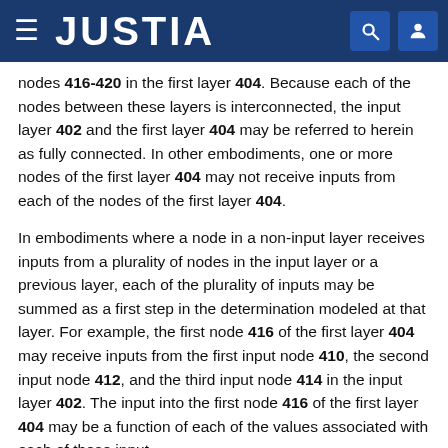JUSTIA
nodes 416-420 in the first layer 404. Because each of the nodes between these layers is interconnected, the input layer 402 and the first layer 404 may be referred to herein as fully connected. In other embodiments, one or more nodes of the first layer 404 may not receive inputs from each of the nodes of the first layer 404.
In embodiments where a node in a non-input layer receives inputs from a plurality of nodes in the input layer or a previous layer, each of the plurality of inputs may be summed as a first step in the determination modeled at that layer. For example, the first node 416 of the first layer 404 may receive inputs from the first input node 410, the second input node 412, and the third input node 414 in the input layer 402. The input into the first node 416 of the first layer 404 may be a function of each of the values associated with each of these input nodes, and the input into the determination modeled at that layer.